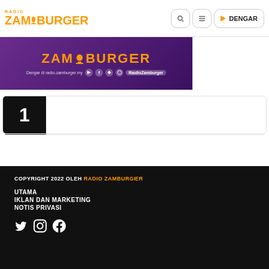[Figure (logo): Radio Zamburger logo with orange text and microphone icon]
[Figure (screenshot): Radio Zamburger purple banner with logo, social icons, and RadioZamburger handle]
[Figure (other): Number 1 card with black box on left containing white number 1, and white content area on right]
COPYRIGHT 2022 OLEH RADIO ZAMBURGER
UTAMA
IKLAN DAN MARKETING
NOTIS PRIVASI
[Figure (other): Social media icons: Twitter, Instagram, Facebook in white on black footer]